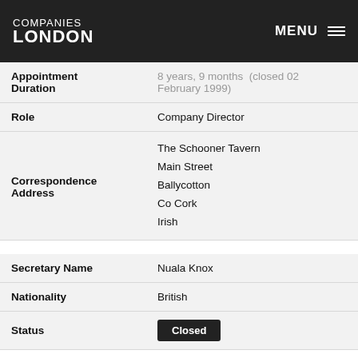COMPANIES LONDON | MENU
| Field | Value |
| --- | --- |
| Appointment Duration | 8 years, 9 months (closed 02 February 1999) |
| Role | Company Director |
| Correspondence Address | The Schooner Tavern
Main Street
Ballycotton
Co Cork
Irish |
| Secretary Name | Nuala Knox |
| Nationality | British |
| Status | Closed |